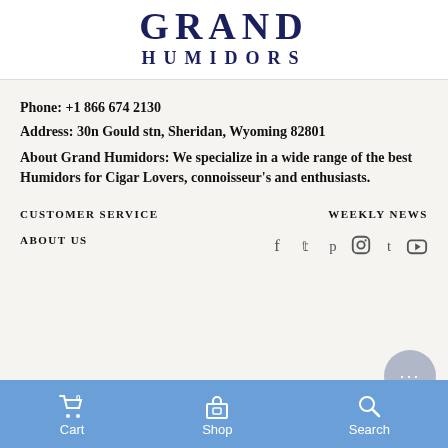[Figure (logo): Grand Humidors logo with large serif text 'GRAND' and 'HUMIDORS' below in dark navy blue]
Phone: +1 866 674 2130
Address: 30n Gould stn, Sheridan, Wyoming 82801
About Grand Humidors: We specialize in a wide range of the best Humidors for Cigar Lovers, connoisseur's and enthusiasts.
CUSTOMER SERVICE
WEEKLY NEWS
ABOUT US
[Figure (other): Social media icons: Facebook, Twitter, Pinterest, Instagram, Tumblr, YouTube]
Cart  Shop  Search